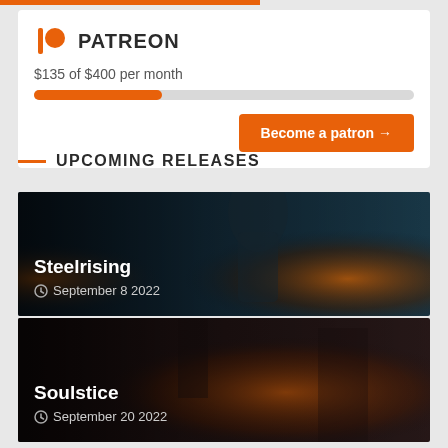[Figure (logo): Patreon logo (orange P symbol) with PATREON text]
$135 of $400 per month
Become a patron →
UPCOMING RELEASES
[Figure (photo): Steelrising game cover image — armored female robot character against dark fantasy background with fire]
Steelrising
September 8 2022
[Figure (photo): Soulstice game cover image — dark action scene with warriors fighting]
Soulstice
September 20 2022